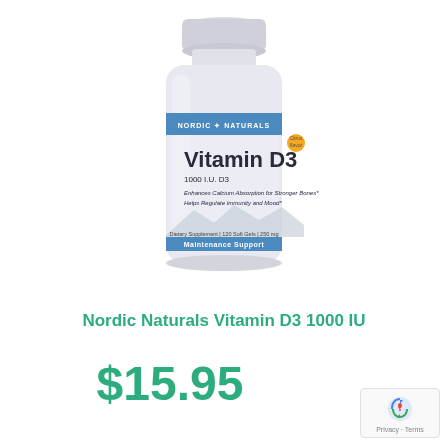[Figure (photo): Nordic Naturals Vitamin D3 1000 IU supplement bottle — white plastic bottle with blue label band reading NORDIC NATURALS, large text Vitamin D3, 1000 I.U. D3, Enhances Calcium Absorption for Stronger Bones, Helps Regulate Immunity and Mood, Dietary Supplement 120 Soft Gels 250 mg, Maintenance Support, orange flavor icon]
Nordic Naturals Vitamin D3 1000 IU
$15.95